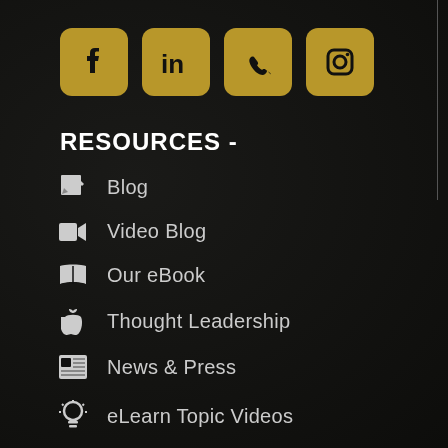[Figure (infographic): Four golden social media icons in rounded square boxes: Facebook (f), LinkedIn (in), Phone/Call, Instagram]
RESOURCES -
Blog
Video Blog
Our eBook
Thought Leadership
News & Press
eLearn Topic Videos